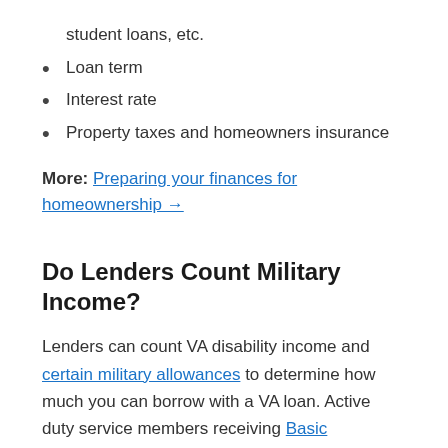student loans, etc.
Loan term
Interest rate
Property taxes and homeowners insurance
More: Preparing your finances for homeownership →
Do Lenders Count Military Income?
Lenders can count VA disability income and certain military allowances to determine how much you can borrow with a VA loan. Active duty service members receiving Basic Allowance for Housing (BAH) can use this income to pay for part or even all of their monthly mortgage payment.
Other types of military allowances that can count as